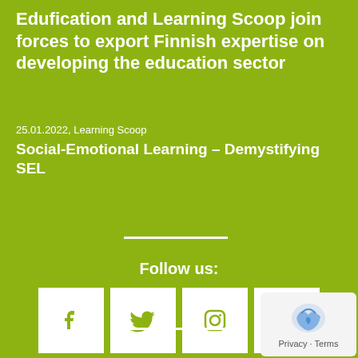Edufication and Learning Scoop join forces to export Finnish expertise on developing the education sector
25.01.2022, Learning Scoop
Social-Emotional Learning – Demystifying SEL
Follow us:
[Figure (infographic): Social media icons: Facebook, Twitter, Instagram, Email in white square boxes on green background]
[Figure (logo): reCAPTCHA privacy badge with Privacy - Terms text]